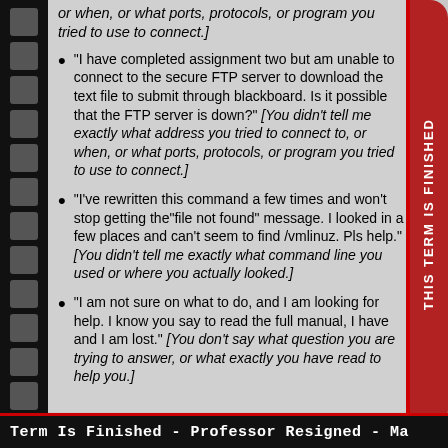or when, or what ports, protocols, or program you tried to use to connect.]
"I have completed assignment two but am unable to connect to the secure FTP server to download the text file to submit through blackboard. Is it possible that the FTP server is down?" [You didn't tell me exactly what address you tried to connect to, or when, or what ports, protocols, or program you tried to use to connect.]
"I've rewritten this command a few times and won't stop getting the"file not found" message. I looked in a few places and can't seem to find /vmlinuz. Pls help." [You didn't tell me exactly what command line you used or where you actually looked.]
"I am not sure on what to do, and I am looking for help. I know you say to read the full manual, I have and I am lost." [You don't say what question you are trying to answer, or what exactly you have read to help you.]
Term Is Finished - Professor Resigned - Ma